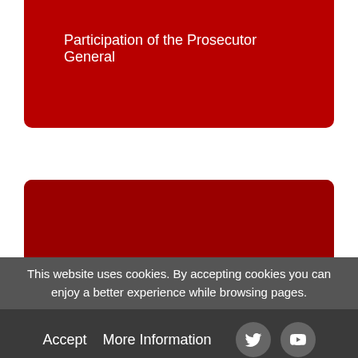Participation of the Prosecutor General
GALLERY
Videos of the Prosecutor's Office
This website uses cookies. By accepting cookies you can enjoy a better experience while browsing pages.
Accept   More Information